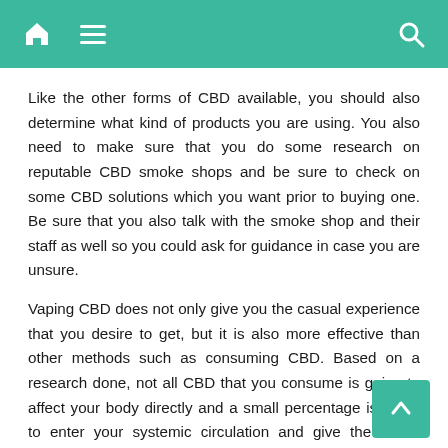[Navigation bar with home, menu, and search icons]
Like the other forms of CBD available, you should also determine what kind of products you are using. You also need to make sure that you do some research on reputable CBD smoke shops and be sure to check on some CBD solutions which you want prior to buying one. Be sure that you also talk with the smoke shop and their staff as well so you could ask for guidance in case you are unsure.
Vaping CBD does not only give you the casual experience that you desire to get, but it is also more effective than other methods such as consuming CBD. Based on a research done, not all CBD that you consume is going to affect your body directly and a small percentage is going to enter your systemic circulation and give the active effects.
But smoking or vaping CBD is a way on how it could maximize CBD